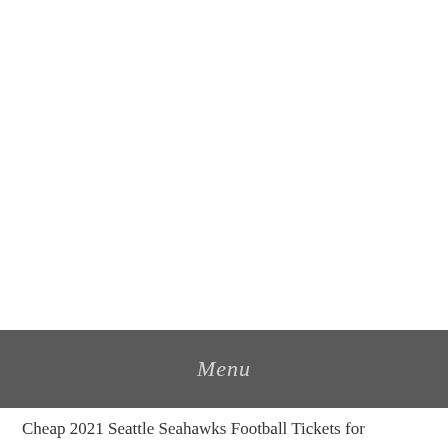Menu
Cheap 2021 Seattle Seahawks Football Tickets for